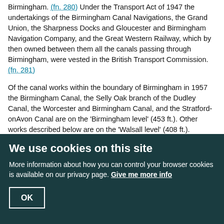Birmingham. (fn. 280) Under the Transport Act of 1947 the undertakings of the Birmingham Canal Navigations, the Grand Union, the Sharpness Docks and Gloucester and Birmingham Navigation Company, and the Great Western Railway, which by then owned between them all the canals passing through Birmingham, were vested in the British Transport Commission. (fn. 281)
Of the canal works within the boundary of Birmingham in 1957 the Birmingham Canal, the Selly Oak branch of the Dudley Canal, the Worcester and Birmingham Canal, and the Stratford-onAvon Canal are on the 'Birmingham level' (453 ft.). Other works described below are on the 'Walsall level' (408 ft.).
The Birmingham Canal enters Birmingham at Merry Hill, and divides near King Edward's Road to form two termini near the centre of Birmingham, the Broad Street basin and the Newhall Street basin. From the Broad Street basin the Worcester Bar junction forms a connexion with the Worcester and Birmingham. The Old Wharf at Broad Street, which extended to Paradise Street where the Navigation Office (fn. 282) used to stand, was closed in 1926, and a municipal car park was laid out on the site. From the Newhall Street branch there is a junction with the Birmingham and Fazeley Canal. The
We use cookies on this site
More information about how you can control your browser cookies is available on our privacy page. Give me more info
OK